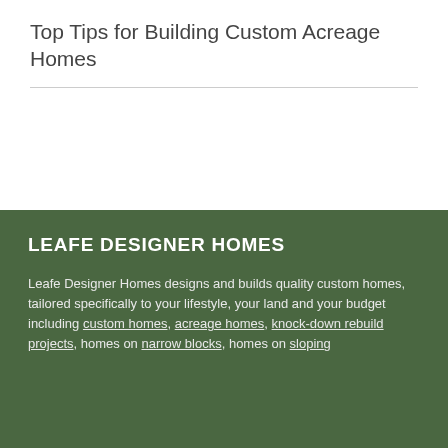Top Tips for Building Custom Acreage Homes
LEAFE DESIGNER HOMES
Leafe Designer Homes designs and builds quality custom homes, tailored specifically to your lifestyle, your land and your budget including custom homes, acreage homes, knock-down rebuild projects, homes on narrow blocks, homes on sloping...